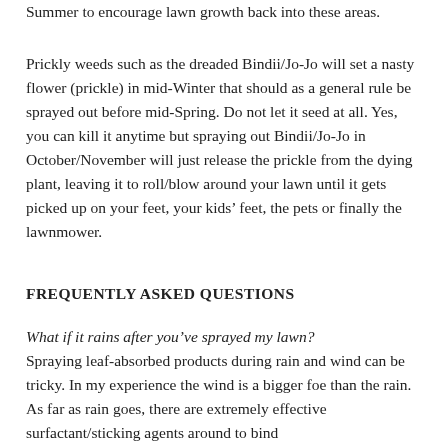Summer to encourage lawn growth back into these areas.
Prickly weeds such as the dreaded Bindii/Jo-Jo will set a nasty flower (prickle) in mid-Winter that should as a general rule be sprayed out before mid-Spring. Do not let it seed at all. Yes, you can kill it anytime but spraying out Bindii/Jo-Jo in October/November will just release the prickle from the dying plant, leaving it to roll/blow around your lawn until it gets picked up on your feet, your kids’ feet, the pets or finally the lawnmower.
FREQUENTLY ASKED QUESTIONS
What if it rains after you’ve sprayed my lawn?
Spraying leaf-absorbed products during rain and wind can be tricky. In my experience the wind is a bigger foe than the rain. As far as rain goes, there are extremely effective surfactant/sticking agents around to bind